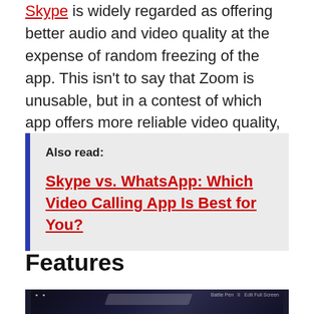Skype is widely regarded as offering better audio and video quality at the expense of random freezing of the app. This isn't to say that Zoom is unusable, but in a contest of which app offers more reliable video quality, Skype wins.
Also read:

Skype vs. WhatsApp: Which Video Calling App Is Best for You?
Features
[Figure (screenshot): Screenshot of a dark-themed video calling application interface showing a dark background with subtle blue highlights.]